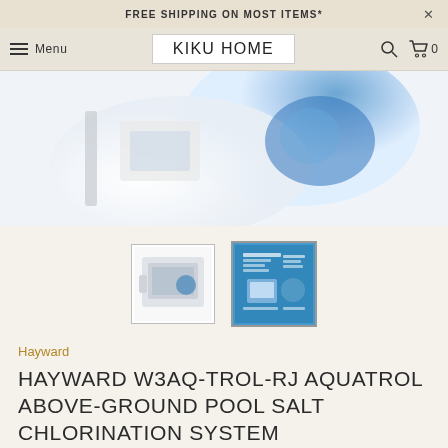FREE SHIPPING ON MOST ITEMS*
KIKU HOME
[Figure (photo): Product photo of Hayward W3AQ-TROL-RJ Aquatrol Above-Ground Pool Salt Chlorination System, showing white device with blue elements, blurred/zoomed in view]
[Figure (photo): Thumbnail 1: product box image showing the chlorination system device]
[Figure (photo): Thumbnail 2: product box with blue background showing infographic/diagram]
Hayward
HAYWARD W3AQ-TROL-RJ AQUATROL ABOVE-GROUND POOL SALT CHLORINATION SYSTEM